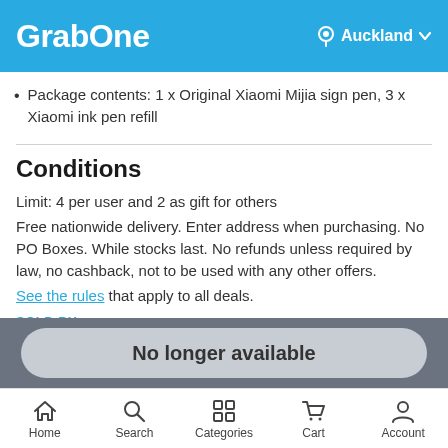GrabOne — Auckland
Package contents: 1 x Original Xiaomi Mijia sign pen, 3 x Xiaomi ink pen refill
Conditions
Limit: 4 per user and 2 as gift for others
Free nationwide delivery. Enter address when purchasing. No PO Boxes. While stocks last. No refunds unless required by law, no cashback, not to be used with any other offers.
See the rules that apply to all deals.
SOLD BY
No longer available
Home  Search  Categories  Cart  Account